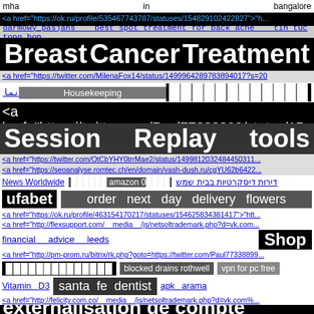mha   in   bangalore
<a href="https://ok.ru/profile/535467743787/statuses/154829102422827">"h...
darmowy pasjans   best spot treatment for back acne   tin tuc tong hop
Breast   Cancer   Treatment
<a href="https://twitter.com/MilenaFox14/status/149996428978389 4017?s=20
نما   Housekeeping   ██████████████
<a href="https://twitter.com/Paul77338899/status/15...
Session   Replay   tools
<a href="https://twitter.com/OtCbYHY0trrMae2/status/1499812032484450311...
<a href="https://seoanalyse.romtec.ch/en/domain/vash-dush.ru/cgYU62b6422...
News Worldwide   ██████ amazon 0████   דירות דיסקרטיות בבית שמש
ufabet   order next day delivery flowers
<a href="https://ok.ru/profile/463154170217/statuses/154625834381417">"htt...
<a href="http://flexsupport.com/__media__/js/netsoltrademark.php?d=vk.com...
financial   advice   leeds   Shop
<a href="http://pm-prom.ru/bitrix/rk.php?goto=https://twitter.com/Paul77338899...
██████████████   blocked drains rothwell   vpn for pc free
Vitamin D3   santa fe dentist   apk   arama
<a href="http://felicity.com.co/__media__/js/netsoltrademark.php?d=vk.com%...
externalisation de compte rendus medi
Houston   Texas   freight   forwarde
<a href="http://compressorgenie.com/__media__/js/netsoltrademark.php?d=v...
cách làm sữa hat diếu   Crest Hill IL local SEO